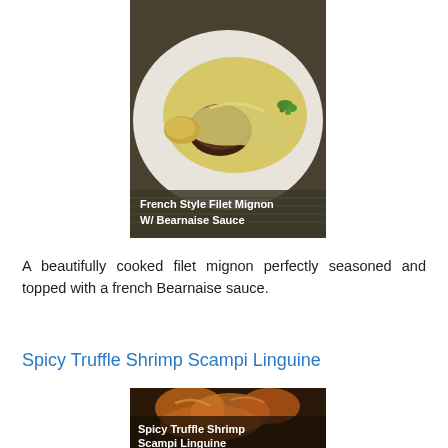[Figure (photo): Photo of a French Style Filet Mignon with Bearnaise Sauce on a white plate, with text overlay reading 'French Style Filet Mignon W/ Bearnaise Sauce']
A beautifully cooked filet mignon perfectly seasoned and topped with a french Bearnaise sauce.
Spicy Truffle Shrimp Scampi Linguine
[Figure (photo): Photo of Spicy Truffle Shrimp Scampi Linguine dish, with text overlay reading 'Spicy Truffle Shrimp Scampi Linguine']